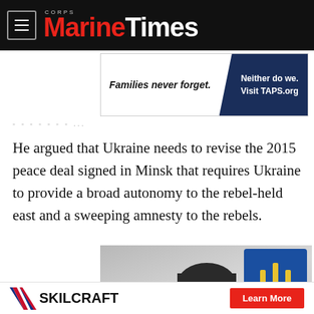Marine Corps Times
[Figure (photo): TAPS advertisement banner: 'Families never forget. Neither do we. Visit TAPS.org' with dark blue background on right]
He argued that Ukraine needs to revise the 2015 peace deal signed in Minsk that requires Ukraine to provide a broad autonomy to the rebel-held east and a sweeping amnesty to the rebels.
[Figure (photo): Photo of a man (likely Ukrainian official) with short dark hair, with Ukrainian trident emblem/flag visible in the background]
[Figure (logo): SKILCRAFT logo with chevron design and 'Learn More' red button advertisement at bottom of page]